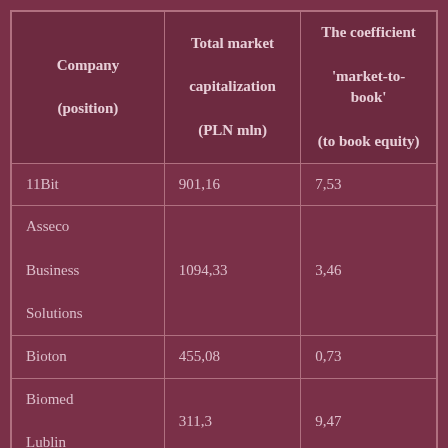| Company (position) | Total market capitalization (PLN mln) | The coefficient 'market-to-book' (to book equity) |
| --- | --- | --- |
| 11Bit | 901,16 | 7,53 |
| Asseco Business Solutions | 1094,33 | 3,46 |
| Bioton | 455,08 | 0,73 |
| Biomed Lublin | 311,3 | 9,47 |
| Biomaxima | 102,11 | 6,12 |
| Airway Medix | 55,73 | 1,67 |